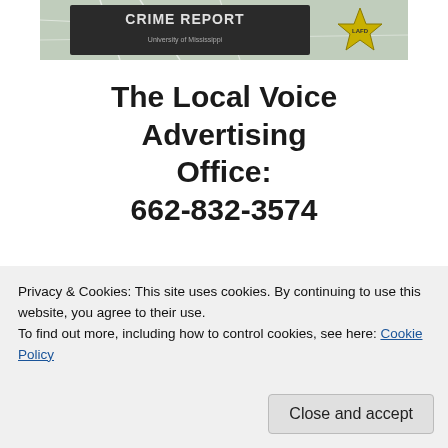[Figure (screenshot): Crime Report banner image with map background and star badge logo, University of Mississippi]
The Local Voice Advertising Office:
662-832-3574
TheLocalVoice.net Categories
Select Category
Privacy & Cookies: This site uses cookies. By continuing to use this website, you agree to their use.
To find out more, including how to control cookies, see here: Cookie Policy
Close and accept